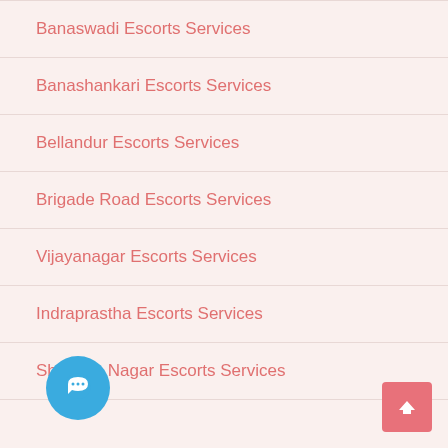Banaswadi Escorts Services
Banashankari Escorts Services
Bellandur Escorts Services
Brigade Road Escorts Services
Vijayanagar Escorts Services
Indraprastha Escorts Services
Shantala Nagar Escorts Services